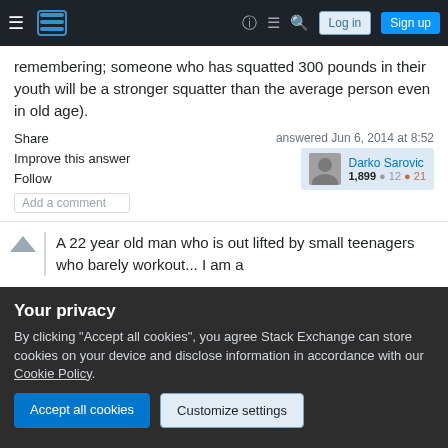Stack Exchange navigation bar with Log in and Sign up buttons
remembering; someone who has squatted 300 pounds in their youth will be a stronger squatter than the average person even in old age).
Share  Improve this answer  Follow  Add a comment
answered Jun 6, 2014 at 8:52  Darko Sarovic  1,899 ● 12 ● 21
A 22 year old man who is out lifted by small teenagers who barely workout... I am a
Your privacy
By clicking "Accept all cookies", you agree Stack Exchange can store cookies on your device and disclose information in accordance with our Cookie Policy.
Accept all cookies  Customize settings
not even logical (why would your worthiness/value